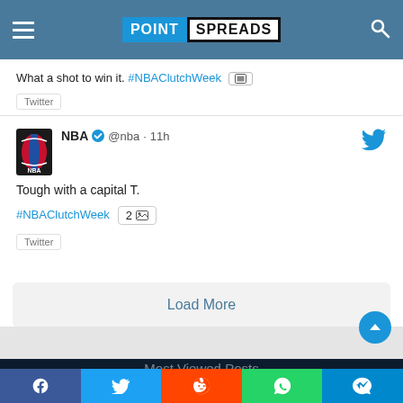POINT SPREADS
What a shot to win it. #NBAClutchWeek [Twitter]
NBA @nba · 11h
Tough with a capital T.
#NBAClutchWeek 2 [Twitter]
Load More
Most Viewed Posts